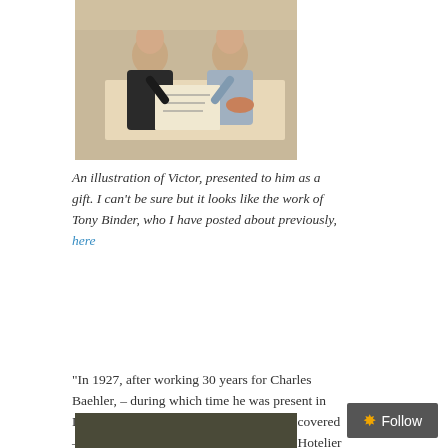[Figure (illustration): A painting/illustration showing two men sitting at a table, one in a dark suit appears to be showing or reading something to another man in lighter clothing. There are dishes on the table.]
An illustration of Victor, presented to him as a gift. I can't be sure but it looks like the work of Tony Binder, who I have posted about previously, here
“In 1927, after working 30 years for Charles Baehler, – during which time he was present in Luxor when Tutankhamun’s tomb was discovered – Victor received a Diploma of the Swiss Hotelier Association and also a gold watch with a dedication from Baehler.
[Figure (photo): Bottom portion of another image, showing a dark olive/khaki colored background, partially visible.]